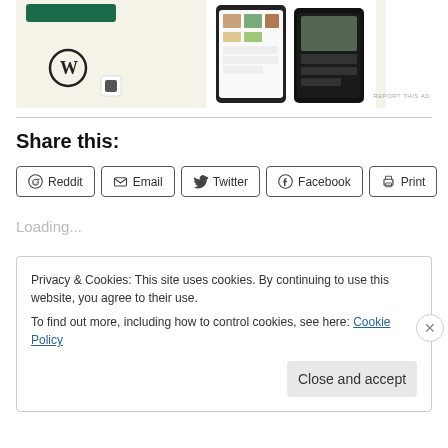[Figure (screenshot): Advertisement banner showing WordPress and food/recipe website mockup with food images]
Share this:
Reddit  Email  Twitter  Facebook  Print
Loading...
Privacy & Cookies: This site uses cookies. By continuing to use this website, you agree to their use.
To find out more, including how to control cookies, see here: Cookie Policy
Close and accept